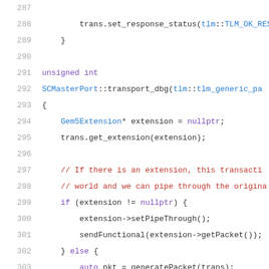[Figure (screenshot): Source code listing showing lines 287-307 of a C++ file implementing SCMasterPort::transport_dbg function, with syntax highlighting in monospace font.]